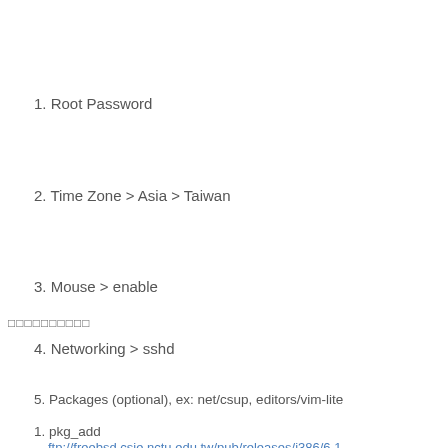1. Root Password
2. Time Zone > Asia > Taiwan
3. Mouse > enable
4. Networking > sshd
5. Packages (optional), ex: net/csup, editors/vim-lite
□□□□□□□□□□
1. pkg_add
ftp://freebsd.csie.nctu.edu.tw/pub/releases/i386/6.1-